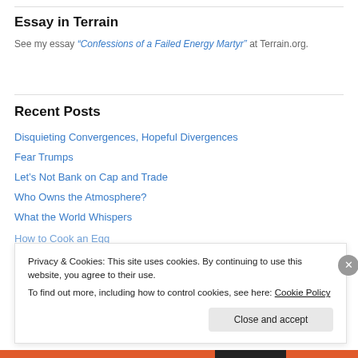Essay in Terrain
See my essay "Confessions of a Failed Energy Martyr" at Terrain.org.
Recent Posts
Disquieting Convergences, Hopeful Divergences
Fear Trumps
Let's Not Bank on Cap and Trade
Who Owns the Atmosphere?
What the World Whispers
How to Cook an Egg
Privacy & Cookies: This site uses cookies. By continuing to use this website, you agree to their use.
To find out more, including how to control cookies, see here: Cookie Policy
Close and accept